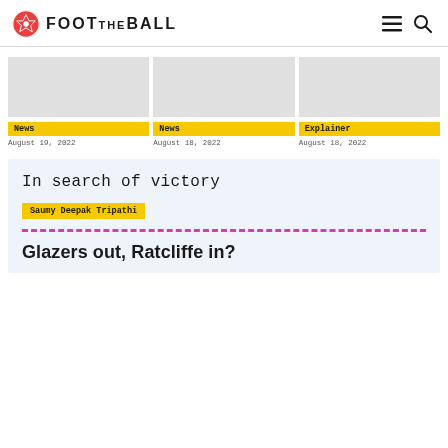FOOTBALL
[Figure (other): Three article card images (grey placeholders)]
News | August 19, 2022
News | August 18, 2022
Explainer | August 18, 2022
In search of victory
Saumy Deepak Tripathi
Glazers out, Ratcliffe in?